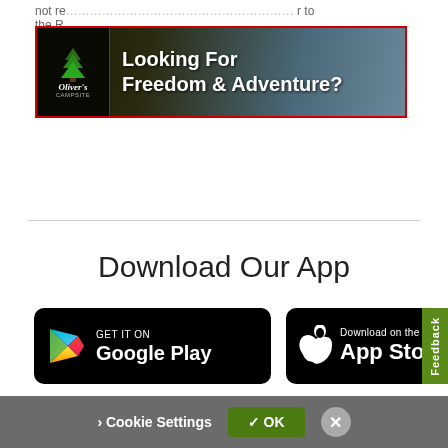not re... r to the R...
[Figure (illustration): Oliver's advertisement banner: logo with pine trees on left, bold white text reading 'Looking For Freedom & Adventure?' on dark background with outdoor photo]
Download Our App
[Figure (logo): GET IT ON Google Play button - black rounded rectangle with Google Play triangle logo]
[Figure (logo): Download on the App Store button - black rounded rectangle with Apple logo]
[Figure (other): Green Feedback tab on right side]
To offer you a better experience, this site uses profile cookies, even from third parties. By continuing to use this website you consent to the use of cookies. For more information or to select your preferences consult our Privacy Policy
› Cookie Settings   ✓ OK   ✕